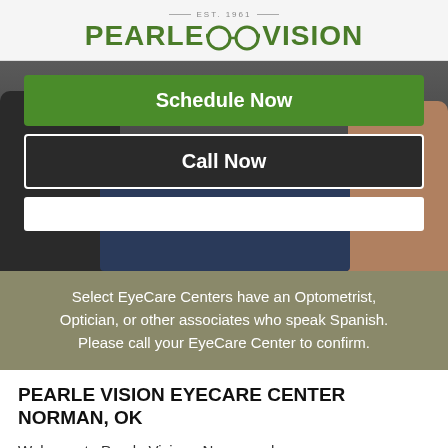[Figure (logo): Pearle Vision logo with glasses icon and EST. 1961 text above]
[Figure (photo): Photo of people with two overlaid buttons: Schedule Now (green) and Call Now (dark), and a white bar below]
Select EyeCare Centers have an Optometrist, Optician, or other associates who speak Spanish. Please call your EyeCare Center to confirm.
PEARLE VISION EYECARE CENTER NORMAN, OK
Welcome to Pearle Vision - Norman where your eye